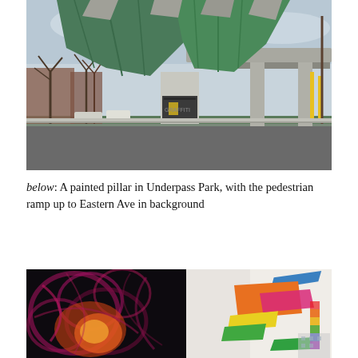[Figure (photo): Photograph of Underpass Park showing green angular roof canopy structure over concrete pillars, with a highway overpass bridge in the background, bare trees, and graffiti on the pillar. A road runs in the foreground.]
below: A painted pillar in Underpass Park, with the pedestrian ramp up to Eastern Ave in background
[Figure (photo): Close-up photograph of a painted pillar in Underpass Park featuring dark swirling abstract mural on the left side with magenta and orange tones, and colorful geometric arrow/chevron shapes in orange, yellow, green, blue, and pink on the right side against a light background.]